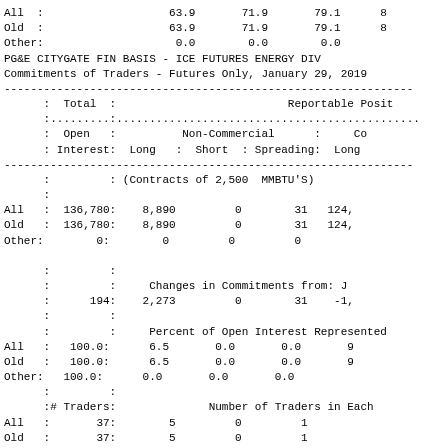|  | Col1 | Col2 | Col3 | Col4 |
| --- | --- | --- | --- | --- |
| All : | 63.9 | 71.9 | 79.1 | 8 |
| Old : | 63.9 | 71.9 | 79.1 | 8 |
| Other: | 0.0 | 0.0 | 0.0 |  |
PG&E CITYGATE FIN BASIS - ICE FUTURES ENERGY DIV
Commitments of Traders - Futures Only, January 29, 2019
| : Total : |  |  |  | Reportable Posit |
| --- | --- | --- | --- | --- |
| : Open : | Non-Commercial | : | Co |
| : Interest : | Long | : Short | : Spreading: | Long |
| --- |
| : | : (Contracts of 2,500  MMBTU'S) |
| All : | 136,780: | 8,890 | 0 | 31 | 124, |
| Old : | 136,780: | 8,890 | 0 | 31 | 124, |
| Other: | 0: | 0 | 0 | 0 |
| : | : | Changes in Commitments from: J |
| : | 194: | 2,273 | 0 | 31 | -1, |
| : | : | Percent of Open Interest Represented |
| All : | 100.0: | 6.5 | 0.0 | 0.0 | 9 |
| Old : | 100.0: | 6.5 | 0.0 | 0.0 | 9 |
| Other: | 100.0: | 0.0 | 0.0 | 0.0 |
| : | : |  |
| :# Traders : |  | Number of Traders in Each |
| All : | 37: | 5 | 0 | 1 |
| Old : | 37: | 5 | 0 | 1 |
| Other: | 0: | 0 | 0 | 0 |